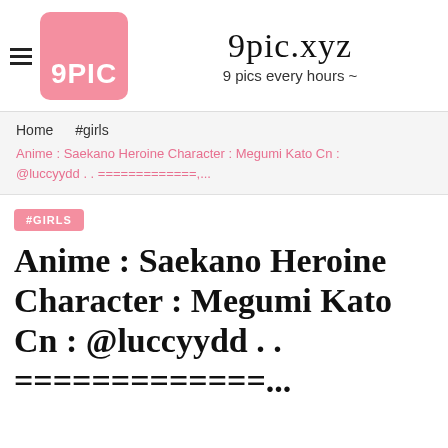9pic.xyz — 9 pics every hours ~
Home   #girls
Anime : Saekano Heroine Character : Megumi Kato Cn : @luccyydd . . =============,...
#GIRLS
Anime : Saekano Heroine Character : Megumi Kato Cn : @luccyydd . . =============...